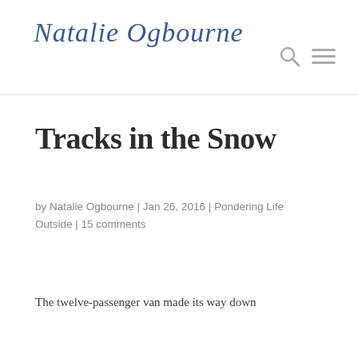Natalie Ogbourne
Tracks in the Snow
by Natalie Ogbourne | Jan 26, 2016 | Pondering Life Outside | 15 comments
The twelve-passenger van made its way down